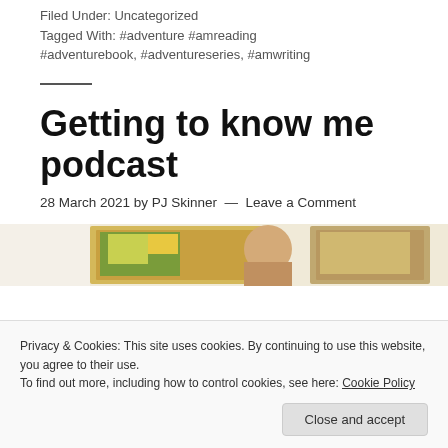Filed Under: Uncategorized
Tagged With: #adventure #amreading #adventurebook, #adventureseries, #amwriting
Getting to know me podcast
28 March 2021 by PJ Skinner — Leave a Comment
[Figure (photo): Partial photo strip showing framed pictures and a person]
Privacy & Cookies: This site uses cookies. By continuing to use this website, you agree to their use.
To find out more, including how to control cookies, see here: Cookie Policy
Close and accept